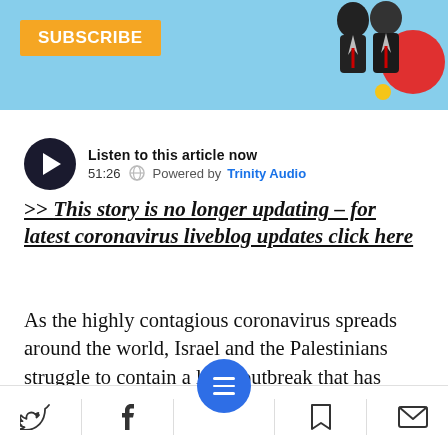[Figure (illustration): Light blue banner header with an orange SUBSCRIBE button on the left and a decorative illustration of two men in suits with red and yellow circles on the right]
Listen to this article now
51:26    Powered by Trinity Audio
>> This story is no longer updating - for latest coronavirus liveblog updates click here
As the highly contagious coronavirus spreads around the world, Israel and the Palestinians struggle to contain a local outbreak that has virtually halted daily life and led to tens of thousands of people entering quarantine.
[Figure (infographic): Bottom navigation bar with Twitter, Facebook, hamburger menu (blue circle), bookmark, and email icons]